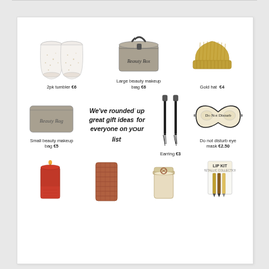[Figure (photo): Two stemless glass tumblers with gold speckle pattern]
2pk tumbler €6
[Figure (photo): Large grey beauty makeup box bag with zipper and handle]
Large beauty makeup bag €6
[Figure (photo): Gold metallic knit beanie hat]
Gold hat €4
[Figure (photo): Small flat grey beauty bag with embossed text 'Beauty Bag']
Small beauty makeup bag €5
We've rounded up great gift ideas for everyone on your list
[Figure (photo): Long black tassel drop earrings with dark stone top]
Earring €3
[Figure (photo): Sleep eye mask with 'Do Not Disturb' text, cream and black]
Do not disturb eye mask €2.50
[Figure (photo): Red pillar candle]
[Figure (photo): Knitted red-brown scarf/wrap]
[Figure (photo): Small glass jar candle with bow]
[Figure (photo): Lip Kit Metallic Collection box with lip pencils]